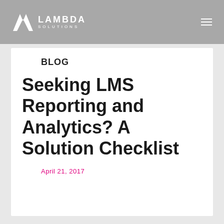[Figure (logo): Lambda Solutions logo with arrow/lambda symbol and text LAMBDA SOLUTIONS]
BLOG
Seeking LMS Reporting and Analytics? A Solution Checklist
April 21, 2017